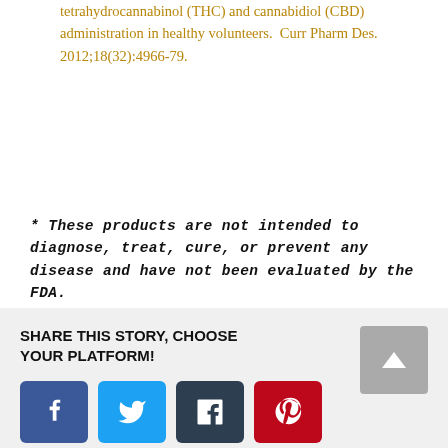tetrahydrocannabinol (THC) and cannabidiol (CBD) administration in healthy volunteers.  Curr Pharm Des.  2012;18(32):4966-79.
* These products are not intended to diagnose, treat, cure, or prevent any disease and have not been evaluated by the FDA.
SHARE THIS STORY, CHOOSE YOUR PLATFORM!